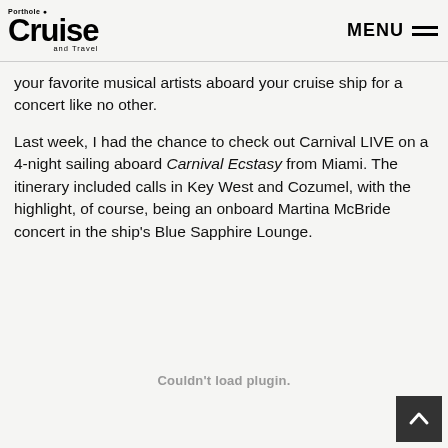Porthole Cruise and Travel — MENU
your favorite musical artists aboard your cruise ship for a concert like no other.
Last week, I had the chance to check out Carnival LIVE on a 4-night sailing aboard Carnival Ecstasy from Miami. The itinerary included calls in Key West and Cozumel, with the highlight, of course, being an onboard Martina McBride concert in the ship's Blue Sapphire Lounge.
Couldn't load plugin.